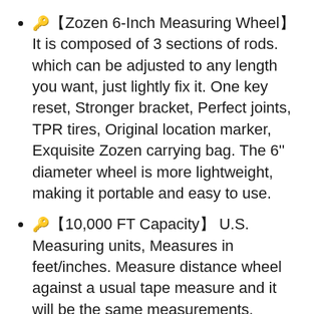🔑【Zozen 6-Inch Measuring Wheel】It is composed of 3 sections of rods. which can be adjusted to any length you want, just lightly fix it. One key reset, Stronger bracket, Perfect joints, TPR tires, Original location marker, Exquisite Zozen carrying bag. The 6'' diameter wheel is more lightweight, making it portable and easy to use.
🔑【10,000 FT Capacity】 U.S. Measuring units, Measures in feet/inches. Measure distance wheel against a usual tape measure and it will be the same measurements. Whether private or industrial purposes, the measurement of straight line and curve line is easy.
(partial, cut off)